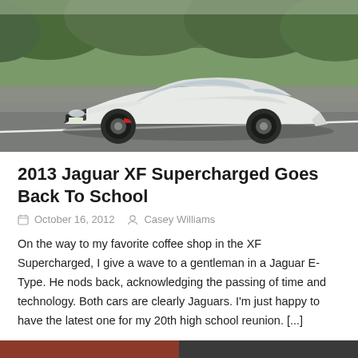[Figure (photo): White Jaguar XF Supercharged luxury sedan photographed on a road with green trees in the background]
2013 Jaguar XF Supercharged Goes Back To School
October 16, 2012   Casey Williams
On the way to my favorite coffee shop in the XF Supercharged, I give a wave to a gentleman in a Jaguar E-Type. He nods back, acknowledging the passing of time and technology. Both cars are clearly Jaguars. I'm just happy to have the latest one for my 20th high school reunion. [...]